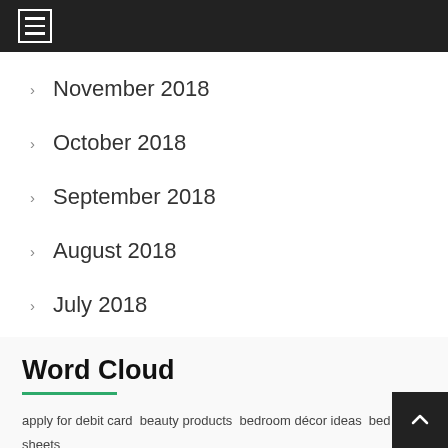November 2018
October 2018
September 2018
August 2018
July 2018
June 2018
Word Cloud
apply for debit card beauty products bedroom décor ideas bed sheets bedsheets online BNPL bus tickets online buy diamond bracelets online child education plan Critical illness insurance debt mutual